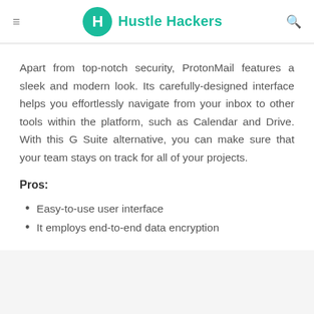Hustle Hackers
Apart from top-notch security, ProtonMail features a sleek and modern look. Its carefully-designed interface helps you effortlessly navigate from your inbox to other tools within the platform, such as Calendar and Drive. With this G Suite alternative, you can make sure that your team stays on track for all of your projects.
Pros:
Easy-to-use user interface
It employs end-to-end data encryption